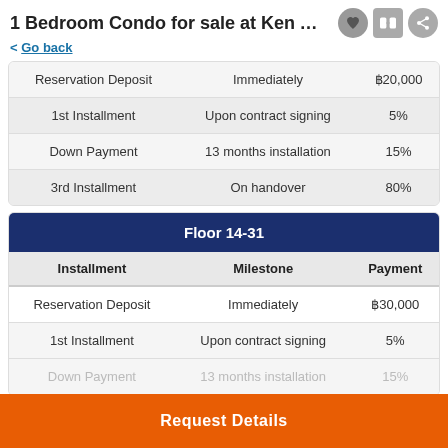1 Bedroom Condo for sale at Ken Attitud...
< Go back
| Installment | Milestone | Payment |
| --- | --- | --- |
| Reservation Deposit | Immediately | ฿20,000 |
| 1st Installment | Upon contract signing | 5% |
| Down Payment | 13 months installation | 15% |
| 3rd Installment | On handover | 80% |
| Floor 14-31 |  |  |
| --- | --- | --- |
| Installment | Milestone | Payment |
| Reservation Deposit | Immediately | ฿30,000 |
| 1st Installment | Upon contract signing | 5% |
| Down Payment | 13 months installation | 15% |
Request Details